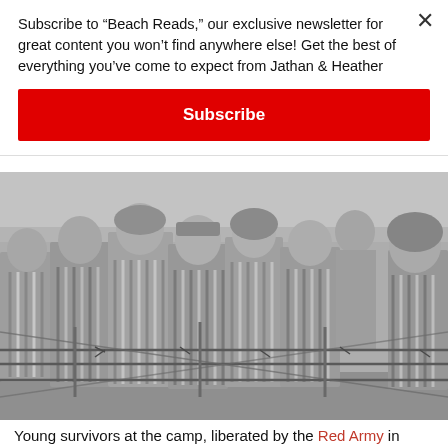Subscribe to "Beach Reads," our exclusive newsletter for great content you won't find anywhere else! Get the best of everything you've come to expect from Jathan & Heather
Subscribe
[Figure (photo): Black and white historical photograph of young concentration camp survivors in striped uniforms standing behind barbed wire fence]
Young survivors at the camp, liberated by the Red Army in